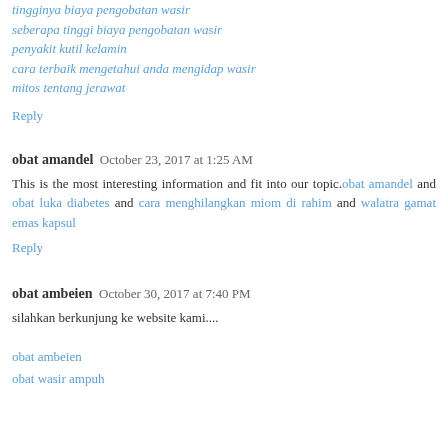tingginya biaya pengobatan wasir
seberapa tinggi biaya pengobatan wasir
penyakit kutil kelamin
cara terbaik mengetahui anda mengidap wasir
mitos tentang jerawat
Reply
obat amandel  October 23, 2017 at 1:25 AM
This is the most interesting information and fit into our topic.obat amandel and obat luka diabetes and cara menghilangkan miom di rahim and walatra gamat emas kapsul
Reply
obat ambeien  October 30, 2017 at 7:40 PM
silahkan berkunjung ke website kami....
obat ambeien
obat wasir ampuh